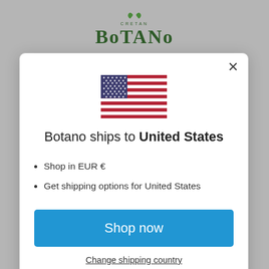[Figure (logo): Cretan Botano brand logo in green serif text at top of page]
[Figure (illustration): USA flag emoji/icon centered in modal dialog]
Botano ships to United States
Shop in EUR €
Get shipping options for United States
Shop now
Change shipping country
"Amperosa" Handmade Soap